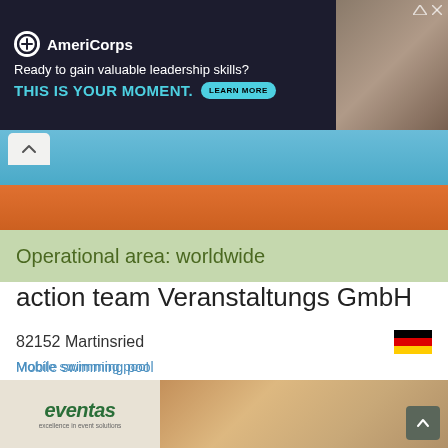[Figure (illustration): AmeriCorps advertisement banner with logo, tagline 'Ready to gain valuable leadership skills?', CTA 'THIS IS YOUR MOMENT.' with LEARN MORE button, and photo of people on the right]
[Figure (photo): Aerial photo of a mobile swimming pool/blue water with orange visible below]
Operational area: worldwide
action team Veranstaltungs GmbH
82152 Martinsried
Mobile swimming pool
Rental Pools
Event Pools
Heating systems for pools
Mobile Water Basin
Correspondence:
[Figure (illustration): Four country flags: German, French, British, Spanish]
[Figure (logo): eventas logo with tagline 'excellence in event solutions']
[Figure (photo): Photo of three women smiling at a green outdoor event]